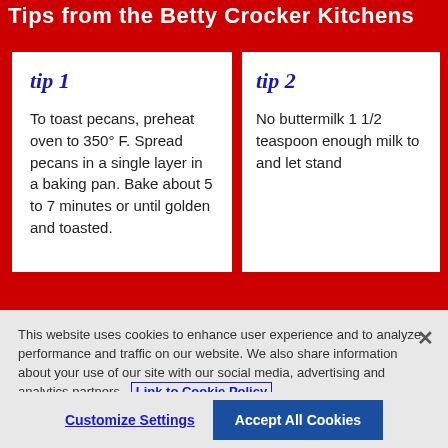Tips from the Betty Crocker Kitchens
tip 1 — To toast pecans, preheat oven to 350° F. Spread pecans in a single layer in a baking pan. Bake about 5 to 7 minutes or until golden and toasted.
tip 2 — No buttermilk 1 1/2 teaspoon enough milk to and let stand
This website uses cookies to enhance user experience and to analyze performance and traffic on our website. We also share information about your use of our site with our social media, advertising and analytics partners. Link to Cookie Policy
Customize Settings
Accept All Cookies